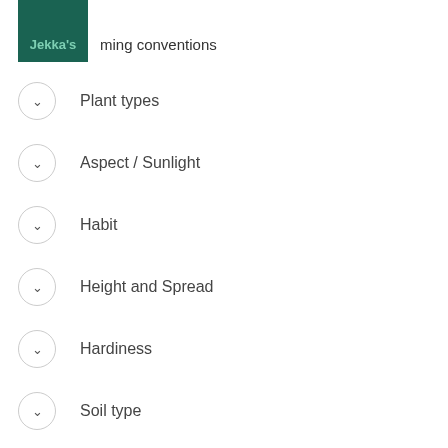Jekka's
ming conventions
Plant types
Aspect / Sunlight
Habit
Height and Spread
Hardiness
Soil type